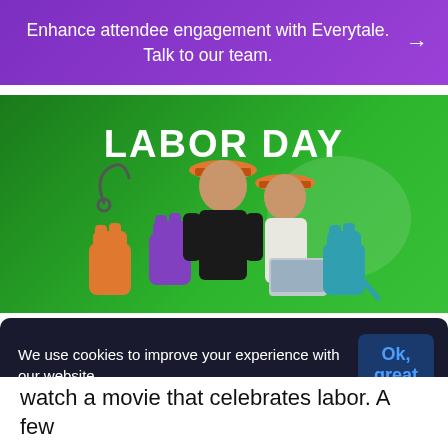Enhance attendee engagement with Everytale. Talk to our team. →
[Figure (illustration): Labor Day promotional banner image with green background showing two workers wearing orange hard hats looking at a laptop, with colorful raised fist icons representing different trades. Text 'LABOR DAY' in bold white letters at top.]
Even though Labor Day is another excuse for a great barbeque for many people in the US,
watch a movie that celebrates labor. A few